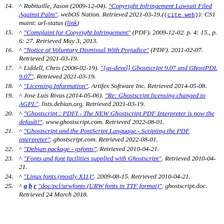14. ^ Robitaille, Jason (2009-12-04). "Copyright Infringement Lawsuit Filed Against Palm". webOS Nation. Retrieved 2021-03-19.((cite web)): CS1 maint: url-status (link)
15. ^ "Complaint for Copyright Infringement" (PDF). 2009-12-02. p. 4: 15., p. 6: 27. Retrieved May 3, 2013.
16. ^ "Notice of Voluntary Dismissal With Prejudice" (PDF). 2011-02-07. Retrieved 2021-03-19.
17. ^ Liddell, Chris (2006-02-19). "[gs-devel] Ghostscript 9.07 and GhostPDL 9.07". Retrieved 2021-03-19.
18. ^ "Licensing Information". Artifex Software Inc. Retrieved 2014-05-08.
19. ^ Jose Luis Rivas (2014-05-06). "Re: Ghostscript licensing changed to AGPL". lists.debian.org. Retrieved 2021-03-19.
20. ^ "Ghostscript : PDFI - The NEW Ghostscript PDF Interpreter is now the default!". www.ghostscript.com. Retrieved 2022-08-01.
21. ^ "Ghostscript and the PostScript Language - Scripting the PDF interpreter". ghostscript.com. Retrieved 2022-08-01.
22. ^ "Debian package - gsfonts". Retrieved 2010-04-21.
23. ^ "Fonts and font facilities supplied with Ghostscript". Retrieved 2010-04-21.
24. ^ "Linux fonts (mostly X11)". 2009-08-15. Retrieved 2010-04-21.
25. ^ a b c "doc/pcl/urwfonts (URW fonts in TTF format)". ghostscript.doc. Retrieved 24 March 2018.